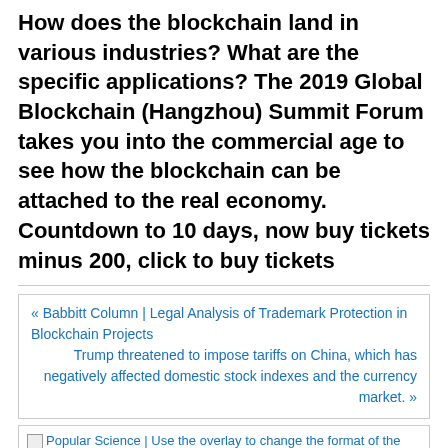How does the blockchain land in various industries? What are the specific applications? The 2019 Global Blockchain (Hangzhou) Summit Forum takes you into the commercial age to see how the blockchain can be attached to the real economy. Countdown to 10 days, now buy tickets minus 200, click to buy tickets
« Babbitt Column | Legal Analysis of Trademark Protection in Blockchain Projects
Trump threatened to impose tariffs on China, which has negatively affected domestic stock indexes and the currency market. »
Popular Science | Use the overlay to change the format of the Ethereum state tree
Popular Science | Use the...
Topaz, the first testnet with Eth2.0 Phase 0 mainnet configuration, has been released
Topaz, the first testnet with